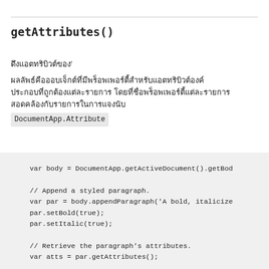getAttributes()
ดึงแอตทริบิวต์ของ'
ผลลัพธ์คือออบเจ็กต์ที่มีพร็อพเพอร์ตี้สำหรับแอตทริบิวต์องค์ประกอบที่ถูกต้องแต่ละรายการ โดยที่ชื่อพร็อพเพอร์ตี้แต่ละรายการสอดคล้องกับรายการในการแจงนับ DocumentApp.Attribute
[Figure (screenshot): Code block showing JavaScript: var body = DocumentApp.getActiveDocument().getBod... // Append a styled paragraph. var par = body.appendParagraph('A bold, italicize... par.setBold(true); par.setItalic(true); // Retrieve the paragraph's attributes. var atts = par.getAttributes();]